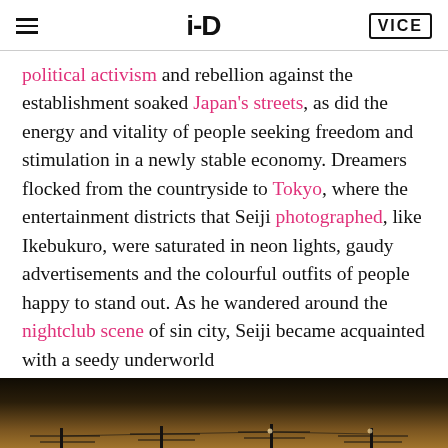i-D | VICE
political activism and rebellion against the establishment soaked Japan's streets, as did the energy and vitality of people seeking freedom and stimulation in a newly stable economy. Dreamers flocked from the countryside to Tokyo, where the entertainment districts that Seiji photographed, like Ikebukuro, were saturated in neon lights, gaudy advertisements and the colourful outfits of people happy to stand out. As he wandered around the nightclub scene of sin city, Seiji became acquainted with a seedy underworld
[Figure (photo): Dark twilight/dusk landscape photograph showing silhouettes of utility poles and power lines against a gradient sky, dark foreground. Page number 57 in circle overlay bottom left. Mute icon bottom right.]